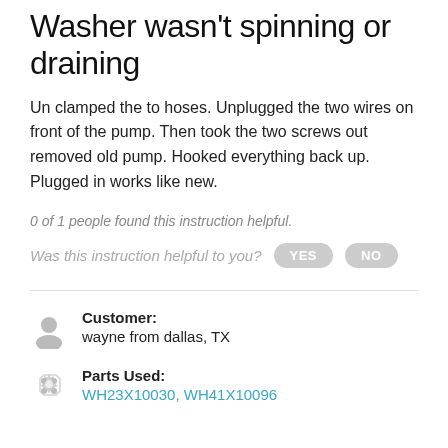Washer wasn't spinning or draining
Un clamped the to hoses. Unplugged the two wires on front of the pump. Then took the two screws out removed old pump. Hooked everything back up. Plugged in works like new.
0 of 1 people found this instruction helpful.
Was this instruction helpful to you? YES NO
Customer: wayne from dallas, TX
Parts Used: WH23X10030, WH41X10096